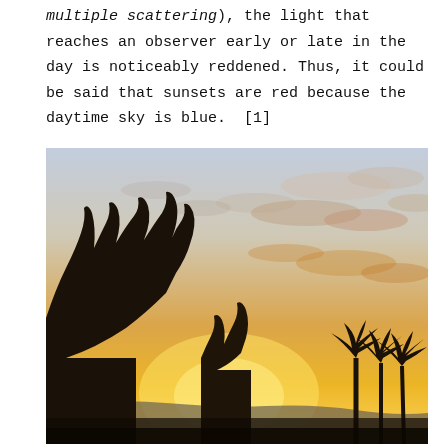multiple scattering), the light that reaches an observer early or late in the day is noticeably reddened. Thus, it could be said that sunsets are red because the daytime sky is blue.  [1]
[Figure (photo): Photograph of a sunset scene showing a glowing orange and yellow sky near the horizon, with silhouettes of trees in the foreground and scattered clouds above.]